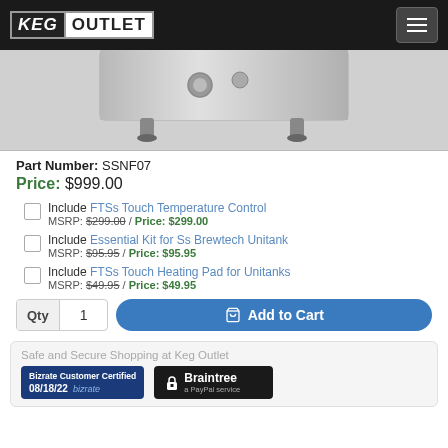KEG OUTLET
[Figure (photo): Product photo of a stainless steel fermentation unitank, showing the bottom portion with feet and fittings on a gray background.]
Part Number: SSNF07
Price: $999.00
Include FTSs Touch Temperature Control MSRP: $299.00 / Price: $299.00
Include Essential Kit for Ss Brewtech Unitank MSRP: $95.95 / Price: $95.95
Include FTSs Touch Heating Pad for Unitanks MSRP: $49.95 / Price: $49.95
Qty 1  Add to Cart
Safe and Secure Shopping at Keg Outlet
[Figure (logo): Bizrate Customer Certified badge dated 08/18/22]
[Figure (logo): Braintree by PayPal secure payment badge]